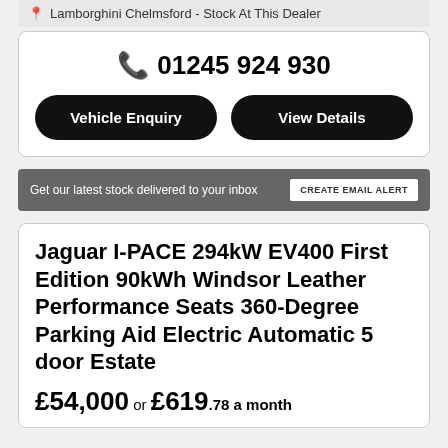Lamborghini Chelmsford - Stock At This Dealer
01245 924 930
Vehicle Enquiry
View Details
Get our latest stock delivered to your inbox
CREATE EMAIL ALERT
Jaguar I-PACE 294kW EV400 First Edition 90kWh Windsor Leather Performance Seats 360-Degree Parking Aid Electric Automatic 5 door Estate
£54,000 or £619.78 a month